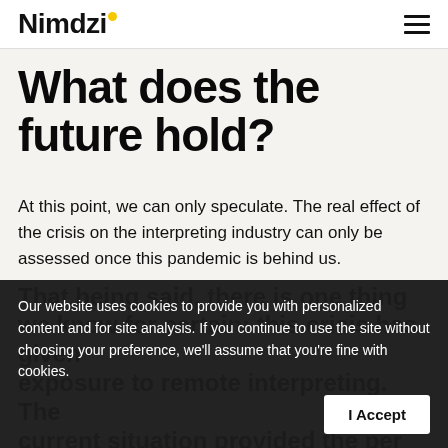Nimdzi
What does the future hold?
At this point, we can only speculate. The real effect of the crisis on the interpreting industry can only be assessed once this pandemic is behind us.
That being said, there is one thing we know for certain: this crisis has given exposure to remote interpreting. The current situation provided the perfect
Our website uses cookies to provide you with personalized content and for site analysis. If you continue to use the site without choosing your preference, we'll assume that you're fine with cookies.
I Accept